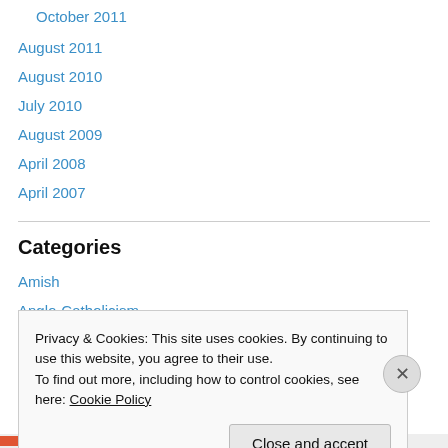October 2011
August 2011
August 2010
July 2010
August 2009
April 2008
April 2007
Categories
Amish
Anglo-Catholicism
Bibliography
Privacy & Cookies: This site uses cookies. By continuing to use this website, you agree to their use.
To find out more, including how to control cookies, see here: Cookie Policy
Close and accept